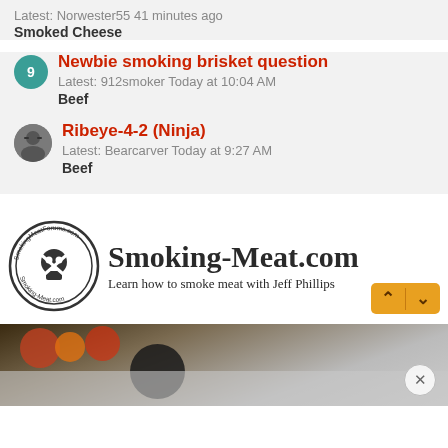Latest: Norwester55 41 minutes ago
Smoked Cheese
Newbie smoking brisket question
Latest: 912smoker Today at 10:04 AM
Beef
Ribeye-4-2 (Ninja)
Latest: Bearcarver Today at 9:27 AM
Beef
[Figure (logo): Smoking-Meat.com logo with circular badge and tagline 'Learn how to smoke meat with Jeff Phillips']
[Figure (photo): Blurred photo of food/barbecue items on a table]
[Figure (other): Navigation up/down arrow buttons in orange]
[Figure (other): Close (X) button circle overlay on photo]